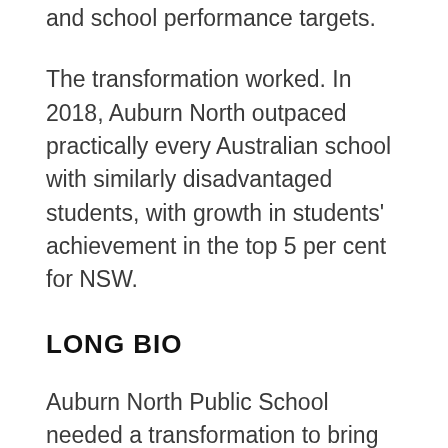and school performance targets.
The transformation worked. In 2018, Auburn North outpaced practically every Australian school with similarly disadvantaged students, with growth in students' achievement in the top 5 per cent for NSW.
LONG BIO
Auburn North Public School needed a transformation to bring about significant changes in many aspects of its teaching and learning programs. In recent years its results